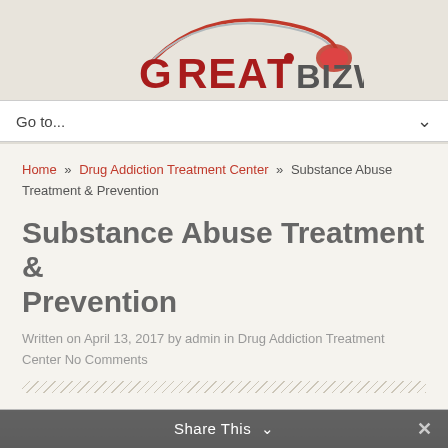[Figure (logo): GreatBizwork logo with red swoosh and text]
Go to...
Home » Drug Addiction Treatment Center » Substance Abuse Treatment & Prevention
Substance Abuse Treatment & Prevention
Written on April 13, 2017 by admin in Drug Addiction Treatment Center No Comments
[Figure (photo): Blurred photo preview at bottom of content area]
Share This ∨  ✕